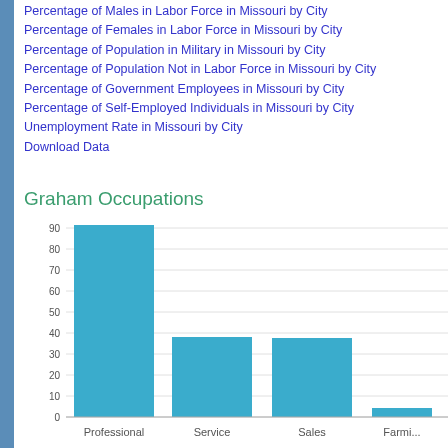Percentage of Males in Labor Force in Missouri by City
Percentage of Females in Labor Force in Missouri by City
Percentage of Population in Military in Missouri by City
Percentage of Population Not in Labor Force in Missouri by City
Percentage of Government Employees in Missouri by City
Percentage of Self-Employed Individuals in Missouri by City
Unemployment Rate in Missouri by City
Download Data
Graham Occupations
[Figure (bar-chart): Graham Occupations]